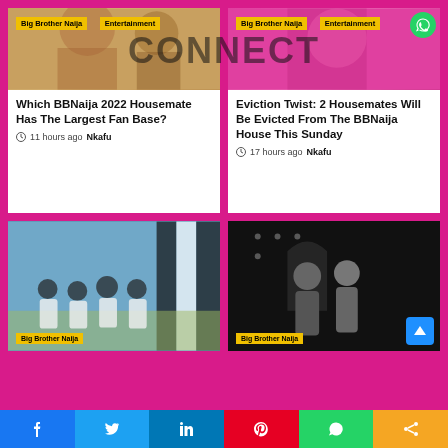[Figure (photo): BBNaija housemates photo top left with Big Brother Naija and Entertainment tags]
Big Brother Naija | Entertainment
Which BBNaija 2022 Housemate Has The Largest Fan Base?
11 hours ago  Nkafu
[Figure (photo): BBNaija colorful photo top right with Big Brother Naija and Entertainment tags and WhatsApp icon]
Big Brother Naija | Entertainment
Eviction Twist: 2 Housemates Will Be Evicted From The BBNaija House This Sunday
17 hours ago  Nkafu
[Figure (photo): BBNaija housemates seated in white outfits bottom left]
[Figure (photo): Black and white photo of two people bottom right]
Facebook | Twitter | LinkedIn | Pinterest | WhatsApp | Share